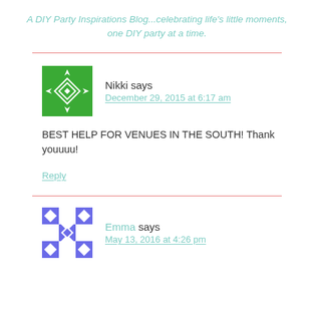A DIY Party Inspirations Blog...celebrating life's little moments, one DIY party at a time.
Nikki says
December 29, 2015 at 6:17 am
BEST HELP FOR VENUES IN THE SOUTH! Thank youuuu!
Reply
Emma says
May 13, 2016 at 4:26 pm